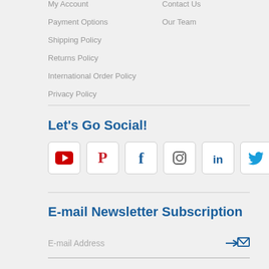My Account
Payment Options
Shipping Policy
Returns Policy
International Order Policy
Privacy Policy
Contact Us
Our Team
Let's Go Social!
[Figure (other): Six social media icon buttons: YouTube, Pinterest, Facebook, Instagram, LinkedIn, Twitter]
E-mail Newsletter Subscription
E-mail Address